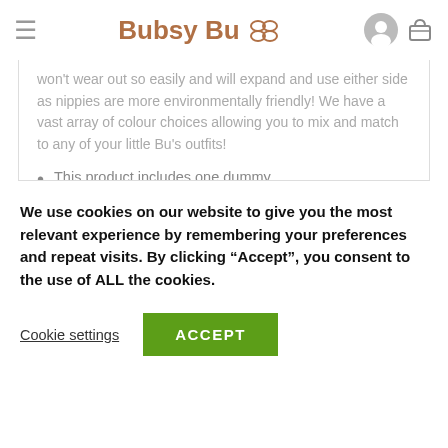Bubsy Bu
won't wear out so easily and will expand and use either side as nippies are more environmentally friendly! We have a vast array of colour choices allowing you to mix and match to any of your little Bu's outfits!
This product includes one dummy.
Made from 100% non-toxic, food grade silicone which is completely BPA, phthalate, and lead free and is also hypoallergenic.
We use cookies on our website to give you the most relevant experience by remembering your preferences and repeat visits. By clicking "Accept", you consent to the use of ALL the cookies.
Cookie settings   ACCEPT